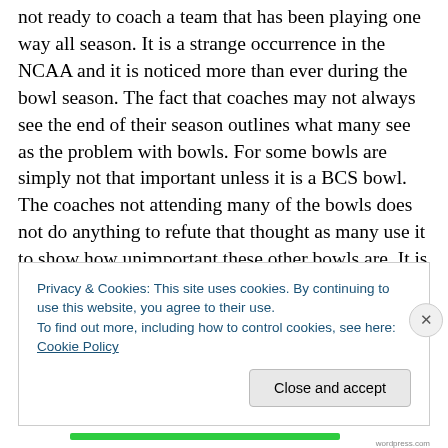not ready to coach a team that has been playing one way all season. It is a strange occurrence in the NCAA and it is noticed more than ever during the bowl season. The fact that coaches may not always see the end of their season outlines what many see as the problem with bowls. For some bowls are simply not that important unless it is a BCS bowl. The coaches not attending many of the bowls does not do anything to refute that thought as many use it to show how unimportant these other bowls are. It is more unfortunate for the players who go to a bowl looking for a win and have to do that with a different coach who may not
Privacy & Cookies: This site uses cookies. By continuing to use this website, you agree to their use.
To find out more, including how to control cookies, see here: Cookie Policy
Close and accept